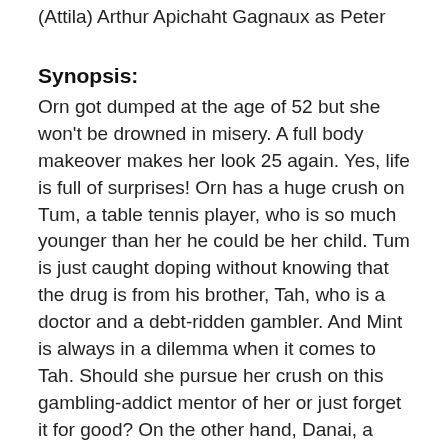(Attila) Arthur Apichaht Gagnaux as Peter
Synopsis:
Orn got dumped at the age of 52 but she won't be drowned in misery. A full body makeover makes her look 25 again. Yes, life is full of surprises! Orn has a huge crush on Tum, a table tennis player, who is so much younger than her he could be her child. Tum is just caught doping without knowing that the drug is from his brother, Tah, who is a doctor and a debt-ridden gambler. And Mint is always in a dilemma when it comes to Tah. Should she pursue her crush on this gambling-addict mentor of her or just forget it for good? On the other hand, Danai, a president of The Tennis Association, suddenly turns over a new leaf and tries to win Orn back. A college